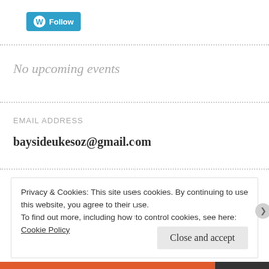[Figure (logo): WordPress Follow button with blue background and WordPress logo]
No upcoming events
EMAIL ADDRESS
baysideukesoz@gmail.com
Privacy & Cookies: This site uses cookies. By continuing to use this website, you agree to their use.
To find out more, including how to control cookies, see here: Cookie Policy
Close and accept